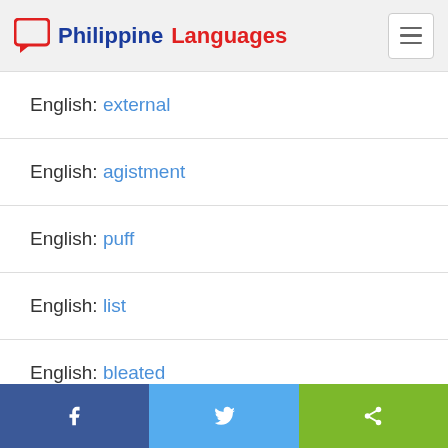Philippine Languages
English: external
English: agistment
English: puff
English: list
English: bleated
Cebuano: sun-uk
Facebook | Twitter | Share